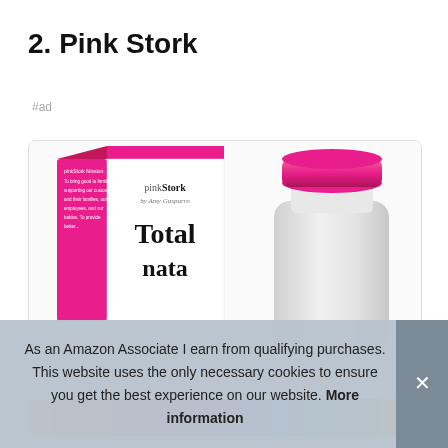2. Pink Stork
#ad
[Figure (photo): Pink Stork Total prenatal vitamin product — pink branded box and white supplement bottle with pink cap on a white background with colorful bottom strip]
As an Amazon Associate I earn from qualifying purchases. This website uses the only necessary cookies to ensure you get the best experience on our website. More information